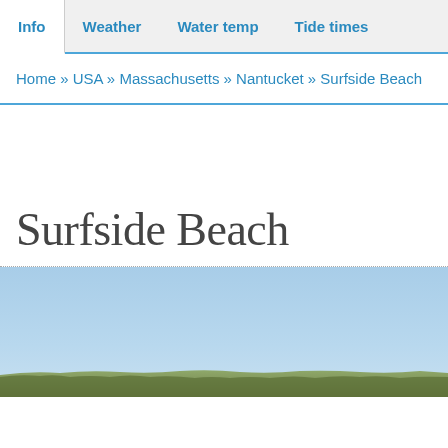Info | Weather | Water temp | Tide times
Home » USA » Massachusetts » Nantucket » Surfside Beach
Surfside Beach
[Figure (photo): Photograph of Surfside Beach showing a clear blue sky and distant shoreline with low vegetation]